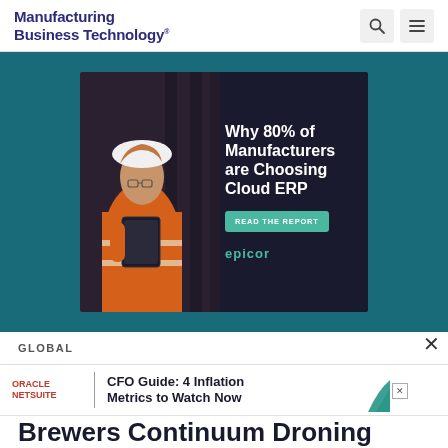Manufacturing Business Technology
[Figure (photo): Advertisement banner showing a female worker wearing an orange high-visibility jacket and white hard hat holding a tablet, with text 'Why 80% of Manufacturers are Choosing Cloud ERP' and a 'READ THE REPORT' button, branded by Epicor]
GLOBAL
[Figure (infographic): Oracle NetSuite advertisement bar: 'CFO Guide: 4 Inflation Metrics to Watch Now' with teal graphic accent and X close button]
Brewers Continuum Droning